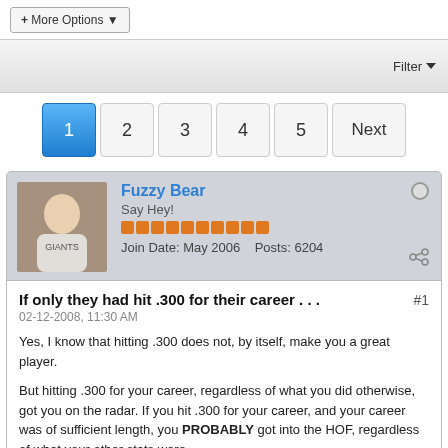+ More Options ▾
Filter ▾
1  2  3  4  5  Next
Fuzzy Bear
Say Hey!
Join Date: May 2006   Posts: 6204
If only they had hit .300 for their career . . .
02-12-2008, 11:30 AM
Yes, I know that hitting .300 does not, by itself, make you a great player.
But hitting .300 for your career, regardless of what you did otherwise, got you on the radar. If you hit .300 for your career, and your career was of sufficient length, you PROBABLY got into the HOF, regardless of what your other stats were.